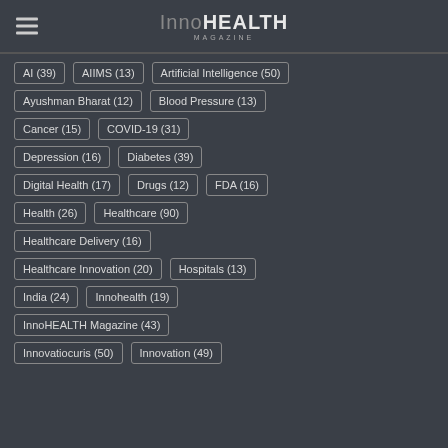InnoHEALTH MAGAZINE
AI (39)
AIIMS (13)
Artificial Intelligence (50)
Ayushman Bharat (12)
Blood Pressure (13)
Cancer (15)
COVID-19 (31)
Depression (16)
Diabetes (39)
Digital Health (17)
Drugs (12)
FDA (16)
Health (26)
Healthcare (90)
Healthcare Delivery (16)
Healthcare Innovation (20)
Hospitals (13)
India (24)
Innohealth (19)
InnoHEALTH Magazine (43)
Innovatiocuris (50)
Innovation (49)